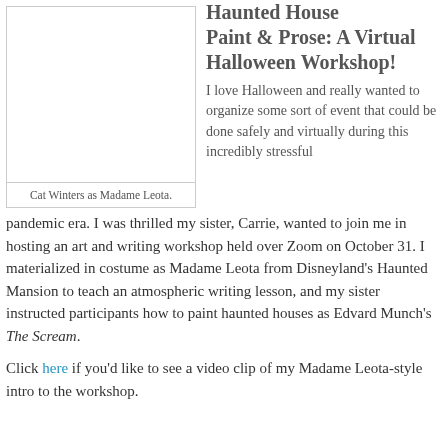Haunted House Paint & Prose: A Virtual Halloween Workshop!
[Figure (photo): Photo of Cat Winters as Madame Leota]
Cat Winters as Madame Leota.
I love Halloween and really wanted to organize some sort of event that could be done safely and virtually during this incredibly stressful pandemic era. I was thrilled my sister, Carrie, wanted to join me in hosting an art and writing workshop held over Zoom on October 31. I materialized in costume as Madame Leota from Disneyland's Haunted Mansion to teach an atmospheric writing lesson, and my sister instructed participants how to paint haunted houses as Edvard Munch's The Scream.
Click here if you'd like to see a video clip of my Madame Leota-style intro to the workshop.